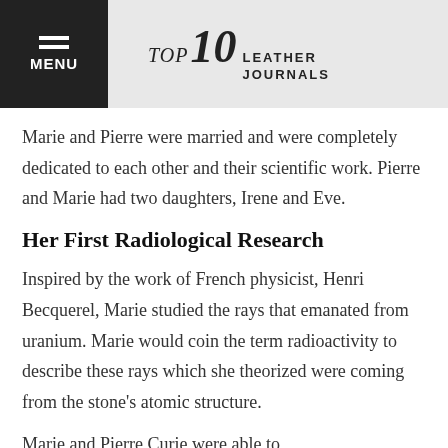TOP 10 LEATHER JOURNALS
Marie and Pierre were married and were completely dedicated to each other and their scientific work. Pierre and Marie had two daughters, Irene and Eve.
Her First Radiological Research
Inspired by the work of French physicist, Henri Becquerel, Marie studied the rays that emanated from uranium. Marie would coin the term radioactivity to describe these rays which she theorized were coming from the stone's atomic structure.
Marie and Pierre Curie were able to